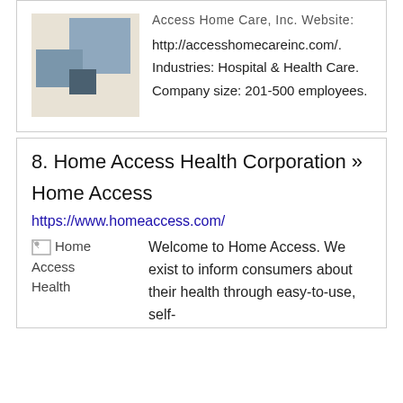[Figure (logo): Access Home Care Inc logo: geometric squares in gray-blue tones on cream background]
Access Home Care, Inc. Website: http://accesshomecareinc.com/. Industries: Hospital & Health Care. Company size: 201-500 employees.
8. Home Access Health Corporation »
Home Access
https://www.homeaccess.com/
[Figure (logo): Home Access Health Corporation logo placeholder (broken image icon)]
Welcome to Home Access. We exist to inform consumers about their health through easy-to-use, self-